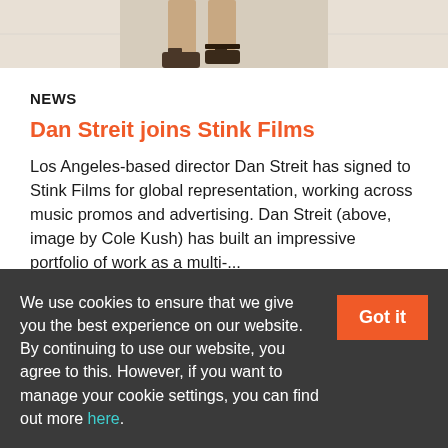[Figure (photo): Cropped photo showing the lower legs and feet of a person wearing sandals on a tiled floor, only the bottom portion visible]
NEWS
Dan Streit joins Stink Films
Los Angeles-based director Dan Streit has signed to Stink Films for global representation, working across music promos and advertising. Dan Streit (above, image by Cole Kush) has built an impressive portfolio of work as a multi-...
Promonews · 8 days ago
We use cookies to ensure that we give you the best experience on our website.
By continuing to use our website, you agree to this. However, if you want to manage your cookie settings, you can find out more here.